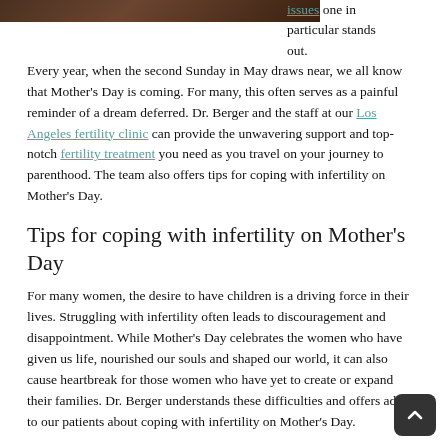[Figure (photo): Cropped top portion of a photograph, showing dark tones, partially visible at top of page]
issues one in particular stands out. Every year, when the second Sunday in May draws near, we all know that Mother's Day is coming. For many, this often serves as a painful reminder of a dream deferred. Dr. Berger and the staff at our Los Angeles fertility clinic can provide the unwavering support and top-notch fertility treatment you need as you travel on your journey to parenthood. The team also offers tips for coping with infertility on Mother's Day.
Tips for coping with infertility on Mother's Day
For many women, the desire to have children is a driving force in their lives. Struggling with infertility often leads to discouragement and disappointment. While Mother's Day celebrates the women who have given us life, nourished our souls and shaped our world, it can also cause heartbreak for those women who have yet to create or expand their families. Dr. Berger understands these difficulties and offers advice to our patients about coping with infertility on Mother's Day.
Acknowledge your feelings. While you may want to keep yourself busy by going from one thing to the next, numbing the pain you feel about not having a baby could make you feel worse. Processing your emotions and determining whether you are feeling sad, angry or discouraged can help you...